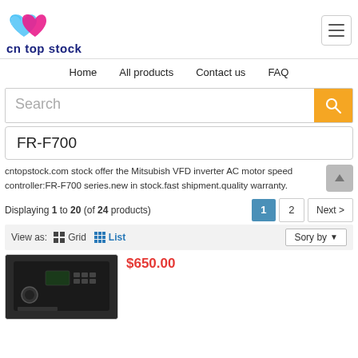[Figure (logo): cn top stock logo with two overlapping heart shapes in blue and pink, company name in dark blue below]
Home   All products   Contact us   FAQ
Search
FR-F700
cntopstock.com stock offer the Mitsubish VFD inverter AC motor speed controller:FR-F700 series.new in stock.fast shipment.quality warranty.
Displaying 1 to 20 (of 24 products)
$650.00
[Figure (photo): Dark grey/black Mitsubishi FR-F700 series VFD inverter AC motor speed controller device, angled view]